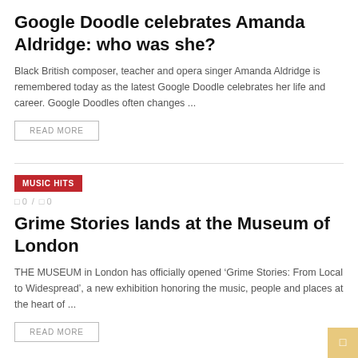Google Doodle celebrates Amanda Aldridge: who was she?
Black British composer, teacher and opera singer Amanda Aldridge is remembered today as the latest Google Doodle celebrates her life and career. Google Doodles often changes ...
READ MORE
MUSIC HITS
0 / 0
Grime Stories lands at the Museum of London
THE MUSEUM in London has officially opened ‘Grime Stories: From Local to Widespread’, a new exhibition honoring the music, people and places at the heart of ...
READ MORE